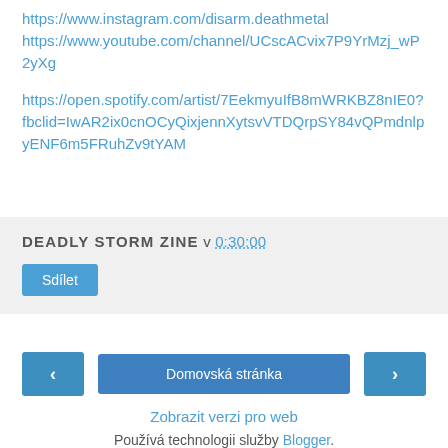https://www.instagram.com/disarm.deathmetal
https://www.youtube.com/channel/UCscACvix7P9YrMzj_wP2yXg
https://open.spotify.com/artist/7EekmyuIfB8mWRKBZ8nIE0?fbclid=IwAR2ix0cnOCyQixjennXytsvVTDQrpSY84vQPmdnlpyENF6m5FRuhZv9tYAM
DEADLY STORM ZINE v 0:30:00
Sdílet
‹   Domovská stránka   ›
Zobrazit verzi pro web
Používá technologii služby Blogger.